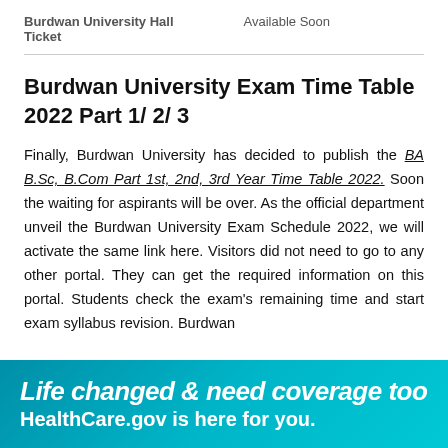Burdwan University Hall Ticket   Available Soon
Burdwan University Exam Time Table 2022 Part 1/ 2/ 3
Finally, Burdwan University has decided to publish the BA B.Sc, B.Com Part 1st, 2nd, 3rd Year Time Table 2022. Soon the waiting for aspirants will be over. As the official department unveil the Burdwan University Exam Schedule 2022, we will activate the same link here. Visitors did not need to go to any other portal. They can get the required information on this portal. Students check the exam's remaining time and start exam syllabus revision. Burdwan
[Figure (infographic): Teal/cyan advertisement banner reading 'Life changed & need coverage too' and 'HealthCare.gov is here for you.']